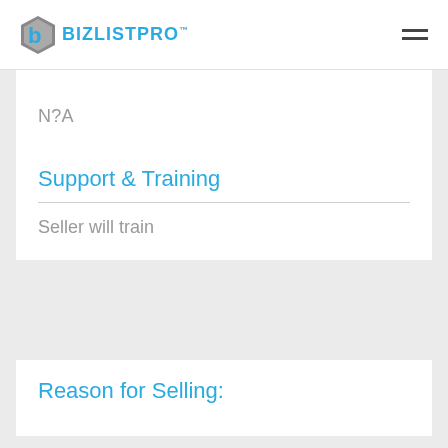BIZLISTPRO
N?A
Support & Training
Seller will train
Reason for Selling: